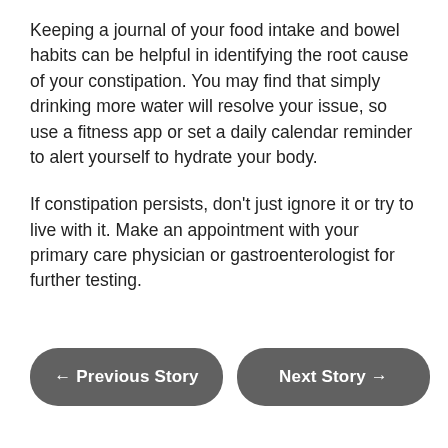Keeping a journal of your food intake and bowel habits can be helpful in identifying the root cause of your constipation. You may find that simply drinking more water will resolve your issue, so use a fitness app or set a daily calendar reminder to alert yourself to hydrate your body.
If constipation persists, don't just ignore it or try to live with it. Make an appointment with your primary care physician or gastroenterologist for further testing.
← Previous Story
Next Story →